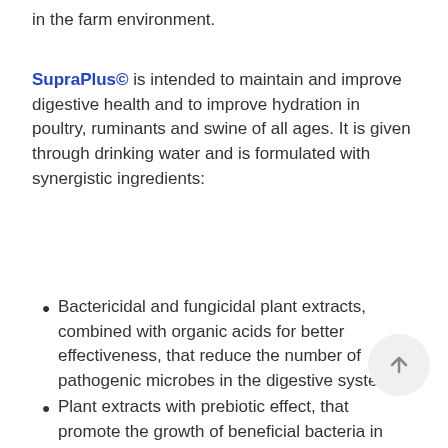in the farm environment.
SupraPlus© is intended to maintain and improve digestive health and to improve hydration in poultry, ruminants and swine of all ages. It is given through drinking water and is formulated with synergistic ingredients:
Bactericidal and fungicidal plant extracts, combined with organic acids for better effectiveness, that reduce the number of pathogenic microbes in the digestive system.
Plant extracts with prebiotic effect, that promote the growth of beneficial bacteria in the digestive system.
Electrolytes to maintain hydration